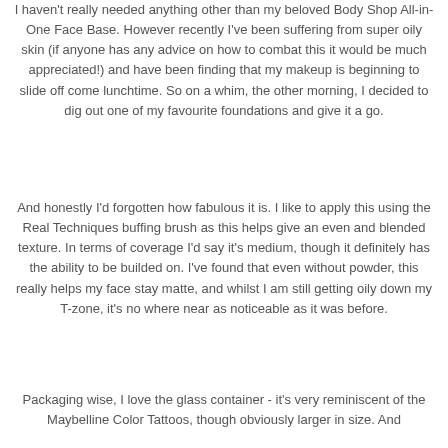I haven't really needed anything other than my beloved Body Shop All-in-One Face Base. However recently I've been suffering from super oily skin (if anyone has any advice on how to combat this it would be much appreciated!) and have been finding that my makeup is beginning to slide off come lunchtime. So on a whim, the other morning, I decided to dig out one of my favourite foundations and give it a go.
And honestly I'd forgotten how fabulous it is. I like to apply this using the Real Techniques buffing brush as this helps give an even and blended texture. In terms of coverage I'd say it's medium, though it definitely has the ability to be builded on. I've found that even without powder, this really helps my face stay matte, and whilst I am still getting oily down my T-zone, it's no where near as noticeable as it was before.
Packaging wise, I love the glass container - it's very reminiscent of the Maybelline Color Tattoos, though obviously larger in size. And